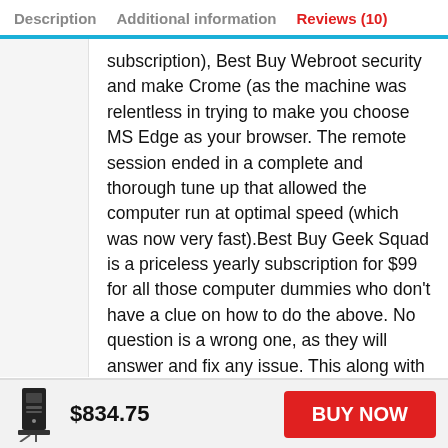Description   Additional information   Reviews (10)
subscription), Best Buy Webroot security and make Crome (as the machine was relentless in trying to make you choose MS Edge as your browser. The remote session ended in a complete and thorough tune up that allowed the computer run at optimal speed (which was now very fast).Best Buy Geek Squad is a priceless yearly subscription for $99 for all those computer dummies who don't have a clue on how to do the above. No question is a wrong one, as they will answer and fix any issue. This along with being
$834.75   BUY NOW